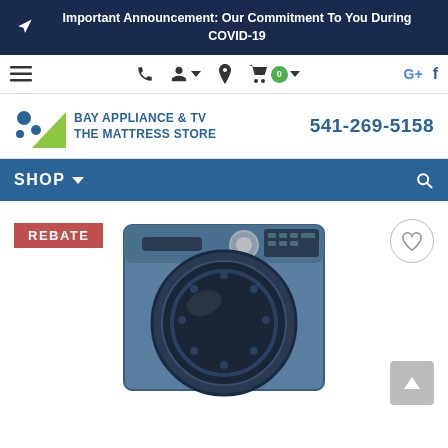Important Announcement: Our Commitment To You During COVID-19
[Figure (screenshot): Navigation bar with hamburger menu, phone icon, user icon, location icon, shopping cart with 0 badge, Google+ and Facebook icons]
[Figure (logo): Bay Appliance & TV The Mattress Store logo with blue/green triangle icon]
541-269-5158
SHOP
REBATE
[Figure (photo): Samsung front-load washing machine in blue/steel color]